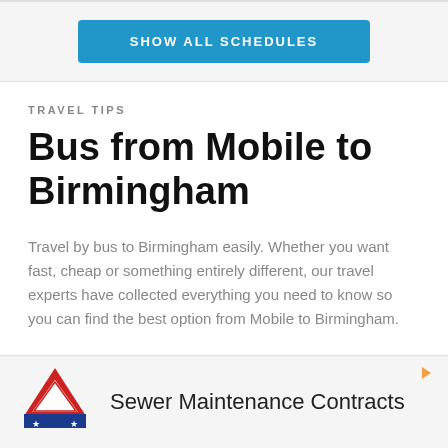[Figure (other): Blue button labeled SHOW ALL SCHEDULES]
TRAVEL TIPS
Bus from Mobile to Birmingham
Travel by bus to Birmingham easily. Whether you want fast, cheap or something entirely different, our travel experts have collected everything you need to know so you can find the best option from Mobile to Birmingham.
[Figure (logo): Advertisement section with triangular logo and text Sewer Maintenance Contracts]